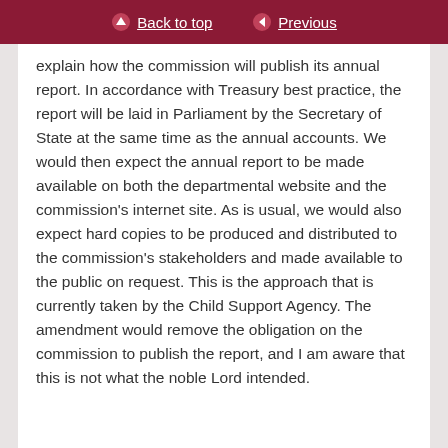Back to top | Previous
explain how the commission will publish its annual report. In accordance with Treasury best practice, the report will be laid in Parliament by the Secretary of State at the same time as the annual accounts. We would then expect the annual report to be made available on both the departmental website and the commission's internet site. As is usual, we would also expect hard copies to be produced and distributed to the commission's stakeholders and made available to the public on request. This is the approach that is currently taken by the Child Support Agency. The amendment would remove the obligation on the commission to publish the report, and I am aware that this is not what the noble Lord intended.